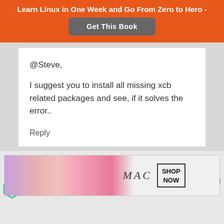Learn Linux in One Week and Go From Zero to Hero -
Get This Book
@Steve,

I suggest you to install all missing xcb related packages and see, if it solves the error..

Reply
[Figure (photo): Advertisement banner for MAC cosmetics showing lipsticks with SHOP NOW button]